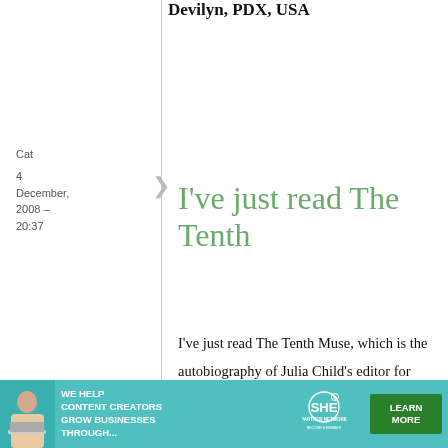Devilyn, PDX, USA
Cat
4 December, 2008 - 20:37
permalink
I've just read The Tenth
I've just read The Tenth Muse, which is the autobiography of Julia Child's editor for Mastering the Art of French Cooking. It's a great read and it got
[Figure (other): SHE Partner Network advertisement banner with woman at laptop, text: WE HELP CONTENT CREATORS GROW BUSINESSES THROUGH..., Learn More button]